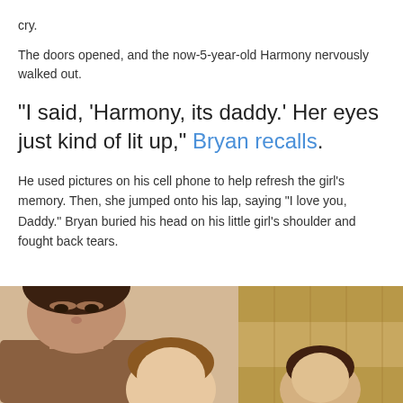cry.
The doors opened, and the now-5-year-old Harmony nervously walked out.
“I said, ‘Harmony, its daddy.’ Her eyes just kind of lit up,” Bryan recalls.
He used pictures on his cell phone to help refresh the girl’s memory. Then, she jumped onto his lap, saying "I love you, Daddy." Bryan buried his head on his little girl’s shoulder and fought back tears.
[Figure (photo): Two photos side by side. Left photo shows a man and a young girl. Right photo shows another child in what appears to be a room with wooden paneling.]